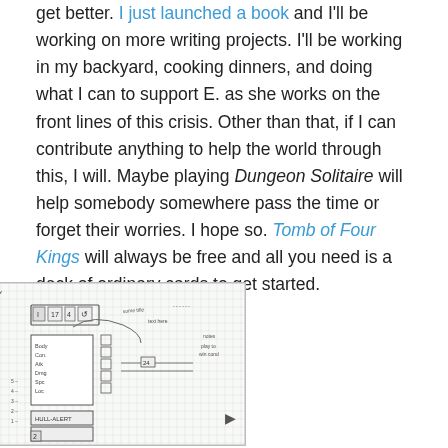get better. I just launched a book and I'll be working on more writing projects. I'll be working in my backyard, cooking dinners, and doing what I can to support E. as she works on the front lines of this crisis. Other than that, if I can contribute anything to help the world through this, I will. Maybe playing Dungeon Solitaire will help somebody somewhere pass the time or forget their worries. I hope so. Tomb of Four Kings will always be free and all you need is a deck of ordinary cards to get started.
[Figure (illustration): Hand-drawn sketch on graph paper showing a dungeon solitaire game layout with handwritten notes, boxes, and game elements.]